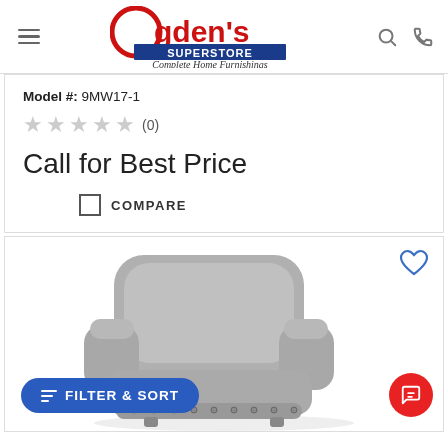Ogden's Superstore – Complete Home Furnishings
Model #: 9MW17-1
★★★★★ (0)
Call for Best Price
COMPARE
[Figure (photo): Gray upholstered recliner chair with nailhead trim detail, photographed against white background]
FILTER & SORT